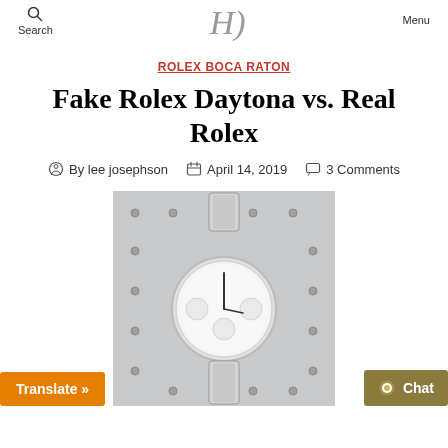Search | [logo] | Menu
ROLEX BOCA RATON
Fake Rolex Daytona vs. Real Rolex
By lee josephson  April 14, 2019  3 Comments
[Figure (photo): A Rolex Daytona watch with a white dial and metal bracelet, photographed against a metal panel with rivets/bolts.]